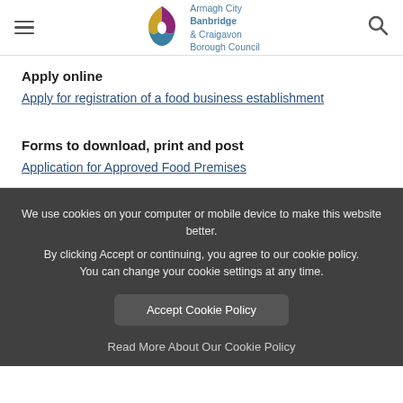Armagh City Banbridge & Craigavon Borough Council
Apply online
Apply for registration of a food business establishment
Forms to download, print and post
Application for Approved Food Premises
We use cookies on your computer or mobile device to make this website better. By clicking Accept or continuing, you agree to our cookie policy. You can change your cookie settings at any time.
Accept Cookie Policy
Read More About Our Cookie Policy